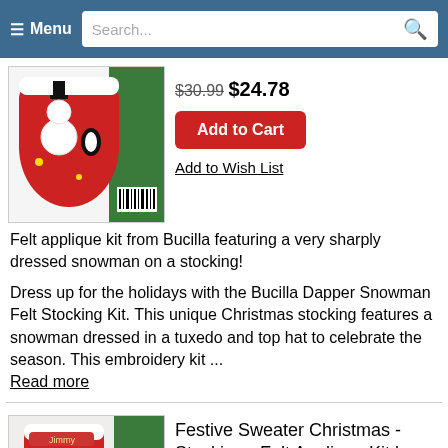≡ Menu  Search...
[Figure (photo): Felt applique stocking kit product image showing snowman design]
$30.99 $24.78
Add to Cart
Add to Wish List
Felt applique kit from Bucilla featuring a very sharply dressed snowman on a stocking!
Dress up for the holidays with the Bucilla Dapper Snowman Felt Stocking Kit. This unique Christmas stocking features a snowman dressed in a tuxedo and top hat to celebrate the season. This embroidery kit ...
Read more
[Figure (photo): Festive Sweater Christmas stocking felt applique kit product image showing snowman with sweater design]
Festive Sweater Christmas - Stocking - Felt Applique Kit by Bucilla
$31.99 $25.58
Top